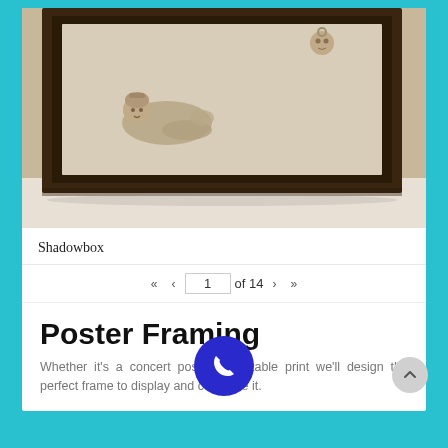[Figure (photo): A framed shadowbox artwork displayed on a white wall, containing decorative clay figurines — a reclining figure with headdress in the center-left and a small face/mask in the upper right — set against a beige/cream textured background within a dark brown wooden frame.]
Shadowbox
« ‹   1   of 14   › »
Poster Framing
Whether it's a concert poster or a table print we'll design the perfect frame to display and conserve it.